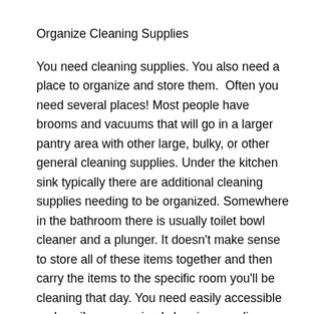Organize Cleaning Supplies
You need cleaning supplies. You also need a place to organize and store them.  Often you need several places! Most people have brooms and vacuums that will go in a larger pantry area with other large, bulky, or other general cleaning supplies. Under the kitchen sink typically there are additional cleaning supplies needing to be organized. Somewhere in the bathroom there is usually toilet bowl cleaner and a plunger. It doesn't make sense to store all of these items together and then carry the items to the specific room you'll be cleaning that day. You need easily accessible and easily re-organized cleaning supplies. Let's start with the main storage area and work our way through the home. Below are two great posts on